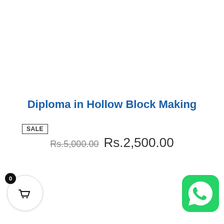Diploma in Hollow Block Making
SALE
Rs.5,000.00  Rs.2,500.00
[Figure (other): Shopping cart button with badge showing 0]
[Figure (other): WhatsApp icon button]